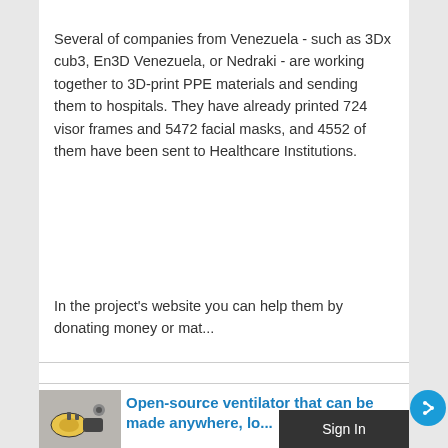Several of companies from Venezuela - such as 3Dx cub3, En3D Venezuela, or Nedraki - are working together to 3D-print PPE materials and sending them to hospitals. They have already printed 724 visor frames and 5472 facial masks, and 4552 of them have been sent to Healthcare Institutions.
In the project's website you can help them by donating money or mat...
[Figure (photo): Thumbnail photo of an open-source ventilator device]
Open-source ventilator that can be made anywhere, lo...